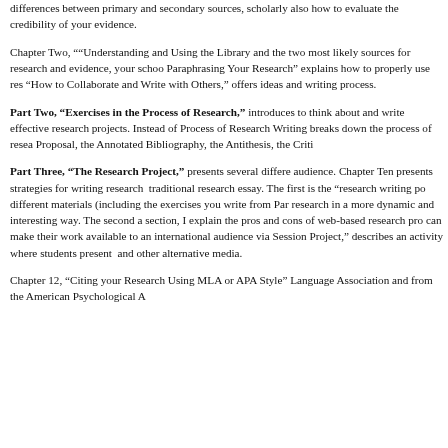differences between primary and secondary sources, scholarly also how to evaluate the credibility of your evidence.
Chapter Two, "“Understanding and Using the Library and the two most likely sources for research and evidence, your schoo Paraphrasing Your Research” explains how to properly use res “How to Collaborate and Write with Others,” offers ideas and writing process.
Part Two, “Exercises in the Process of Research,” introduces to think about and write effective research projects. Instead of Process of Research Writing breaks down the process of resea Proposal, the Annotated Bibliography, the Antithesis, the Criti
Part Three, “The Research Project,” presents several differe audience. Chapter Ten presents strategies for writing research  traditional research essay. The first is the “research writing po different materials (including the exercises you write from Par research in a more dynamic and interesting way. The second a section, I explain the pros and cons of web-based research pro can make their work available to an international audience via Session Project,” describes an activity where students present  and other alternative media.
Chapter 12, “Citing your Research Using MLA or APA Style” Language Association and from the American Psychological A